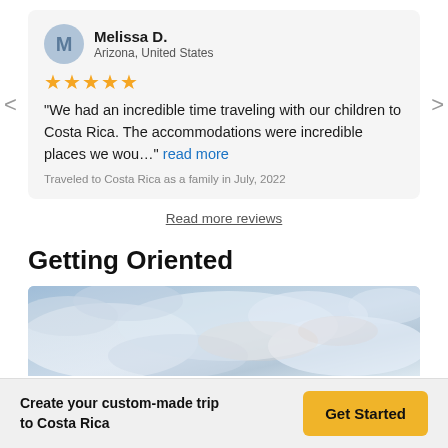Melissa D.
Arizona, United States
★★★★★
"We had an incredible time traveling with our children to Costa Rica. The accommodations were incredible places we wou..." read more
Traveled to Costa Rica as a family in July, 2022
Read more reviews
Getting Oriented
[Figure (photo): Scenic blue sky with clouds, destination photo for Costa Rica travel]
Create your custom-made trip to Costa Rica
Get Started